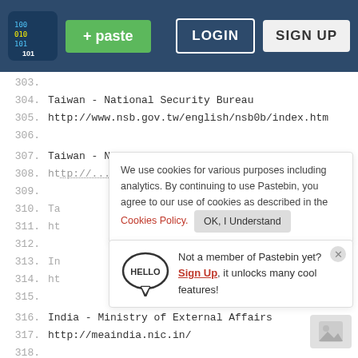[Figure (screenshot): Pastebin website header/navbar with logo, green paste button, LOGIN and SIGN UP buttons on dark navy background]
304.  Taiwan - National Security Bureau
305.  http://www.nsb.gov.tw/english/nsb0b/index.htm
306.
307.  Taiwan - National Police Administration
308.  ht...
309.
310.  Ta...
311.  ht...
312.
313.  In...
314.  ht...
315.
316.  India - Ministry of External Affairs
317.  http://meaindia.nic.in/
318.
319.  India - Armed Forces
We use cookies for various purposes including analytics. By continuing to use Pastebin, you agree to our use of cookies as described in the Cookies Policy. OK, I Understand
Not a member of Pastebin yet? Sign Up, it unlocks many cool features!